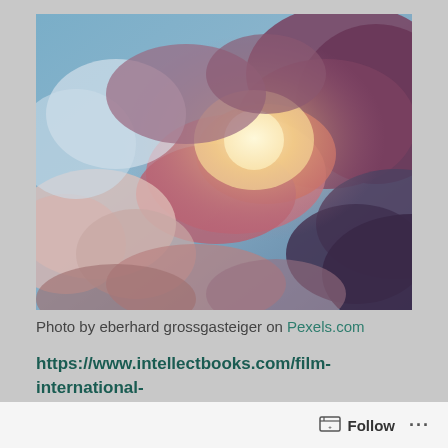[Figure (photo): Dramatic sky photo with clouds lit by warm orange/pink sunset light against blue sky, viewed from below looking upward.]
Photo by eberhard grossgasteiger on Pexels.com
https://www.intellectbooks.com/film-international-journal-of-world-cinema
Film International
Follow ...